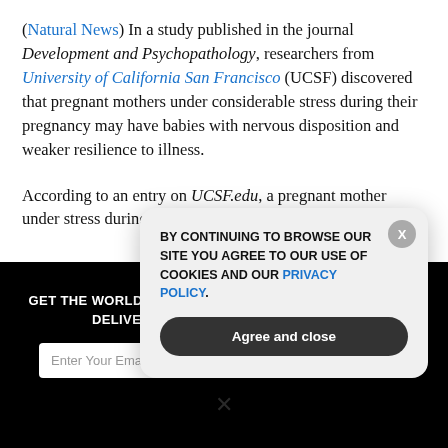(Natural News) In a study published in the journal Development and Psychopathology, researchers from University of California San Francisco (UCSF) discovered that pregnant mothers under considerable stress during their pregnancy may have babies with nervous disposition and weaker resilience to illness.
According to an entry on UCSF.edu, a pregnant mother under stress during her second trimester may affect the
GET THE WORLD'S BEST NATURAL HEALTH NEWSLETTER DELIVERED STRAIGHT TO YOUR INBOX
Enter Your Email Address
SUBSCRIBE
BY CONTINUING TO BROWSE OUR SITE YOU AGREE TO OUR USE OF COOKIES AND OUR PRIVACY POLICY.
Agree and close